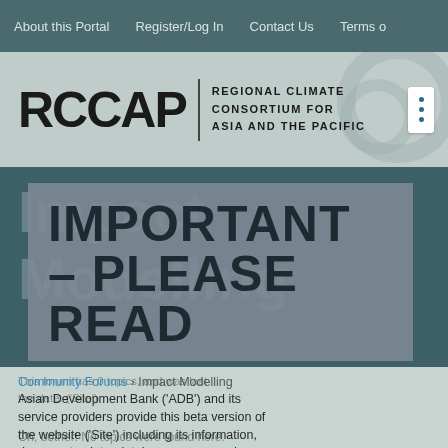About this Portal   Register/Log In   Contact Us   Terms o
[Figure (logo): RCCAP - Regional Climate Consortium for Asia and the Pacific logo with navigation dots icon]
IMPORTANT – PLEASE READ
Community Forums › Impact Modelling
Asian Development Bank ('ADB') and its service providers provide this beta version of the website ('Site') including its information, documents, data, databases, maps and materials ('Materials') solely as a resource for you without any form of assurance. This
Oh, bother! No topics were found here.